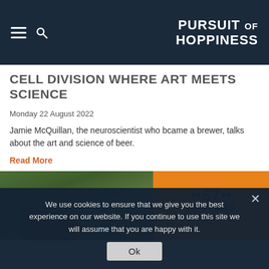PURSUIT OF HOPPINESS
CELL DIVISION WHERE ART MEETS SCIENCE
Monday 22 August 2022
Jamie McQuillan, the neuroscientist who bcame a brewer, talks about the art and science of beer.
Read More
[Figure (photo): Left: dark brown dog in green garden. Right: orange sign reading '57 CRAFT BEER HANGOUT &']
We use cookies to ensure that we give you the best experience on our website. If you continue to use this site we will assume that you are happy with it.